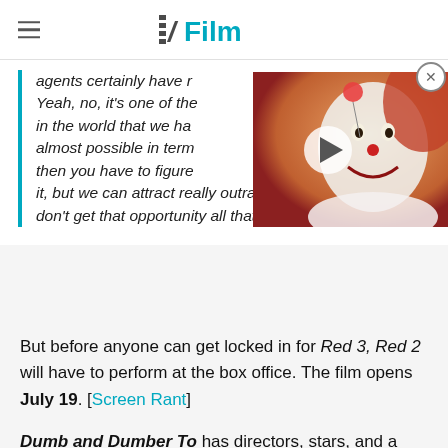/Film
agents certainly have r... Yeah, no, it's one of the... in the world that we ha... almost possible in term... then you have to figure... it, but we can attract really outrageous characters. Actors don't get that opportunity all that much.
[Figure (photo): Video thumbnail showing Pennywise the clown from IT with a play button overlay]
But before anyone can get locked in for Red 3, Red 2 will have to perform at the box office. The film opens July 19. [Screen Rant]
Dumb and Dumber To has directors, stars, and a studio, and now it also has composers. Aussie